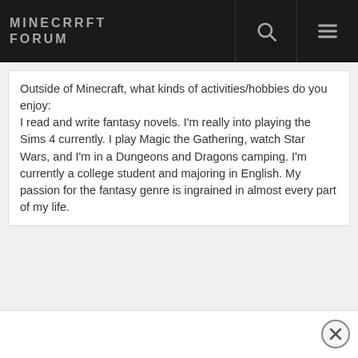MINECRAFT FORUM
Outside of Minecraft, what kinds of activities/hobbies do you enjoy:
I read and write fantasy novels. I'm really into playing the Sims 4 currently. I play Magic the Gathering, watch Star Wars, and I'm in a Dungeons and Dragons camping. I'm currently a college student and majoring in English. My passion for the fantasy genre is ingrained in almost every part of my life.